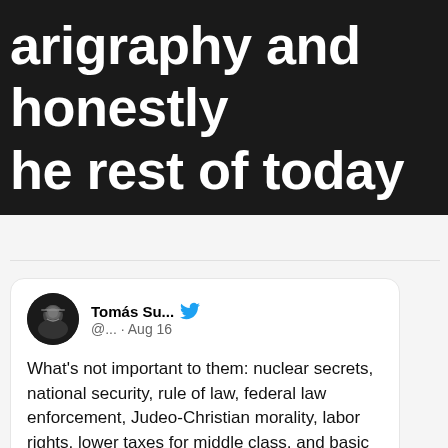[Figure (screenshot): Partial screenshot of a dark banner with white bold text reading 'arigraphy and honestly he rest of today']
[Figure (screenshot): Embedded tweet card from Tomás Su... (@...) posted Aug 16, with Twitter bird logo. Tweet text: What's not important to them: nuclear secrets, national security, rule of law, federal law enforcement, Judeo-Christian morality, labor rights, lower taxes for middle class, and basic public image of the office. What is important to them: whiteness.]